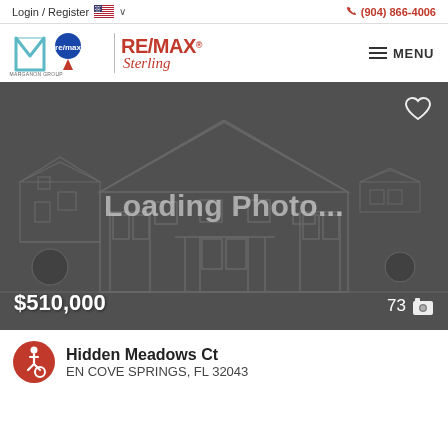Login / Register   🇺🇸 ∨   (904) 866-4006
[Figure (logo): The Marganon Group and RE/MAX Sterling logos with divider]
≡ MENU
[Figure (photo): Loading Photo... placeholder with house wireframe background, price $510,000, photo count 73]
Hidden Meadows Ct
EN COVE SPRINGS, FL 32043